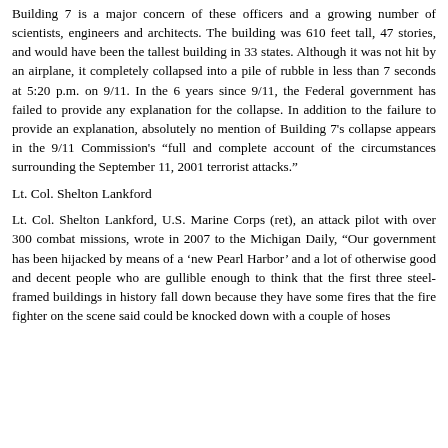Building 7 is a major concern of these officers and a growing number of scientists, engineers and architects. The building was 610 feet tall, 47 stories, and would have been the tallest building in 33 states. Although it was not hit by an airplane, it completely collapsed into a pile of rubble in less than 7 seconds at 5:20 p.m. on 9/11. In the 6 years since 9/11, the Federal government has failed to provide any explanation for the collapse. In addition to the failure to provide an explanation, absolutely no mention of Building 7's collapse appears in the 9/11 Commission's “full and complete account of the circumstances surrounding the September 11, 2001 terrorist attacks.”
Lt. Col. Shelton Lankford
Lt. Col. Shelton Lankford, U.S. Marine Corps (ret), an attack pilot with over 300 combat missions, wrote in 2007 to the Michigan Daily, “Our government has been hijacked by means of a ‘new Pearl Harbor’ and a lot of otherwise good and decent people who are gullible enough to think that the first three steel-framed buildings in history fall down because they have some fires that the fire fighter on the scene said could be knocked down with a couple of hoses